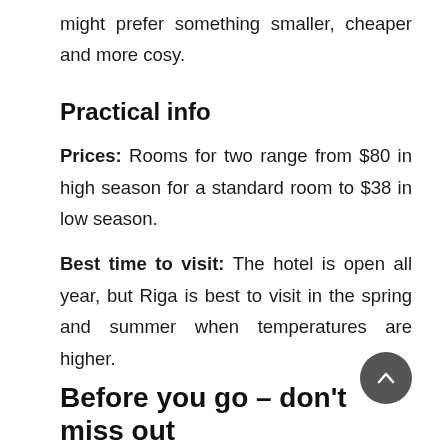might prefer something smaller, cheaper and more cosy.
Practical info
Prices: Rooms for two range from $80 in high season for a standard room to $38 in low season.
Best time to visit: The hotel is open all year, but Riga is best to visit in the spring and summer when temperatures are higher.
Before you go – don't miss out